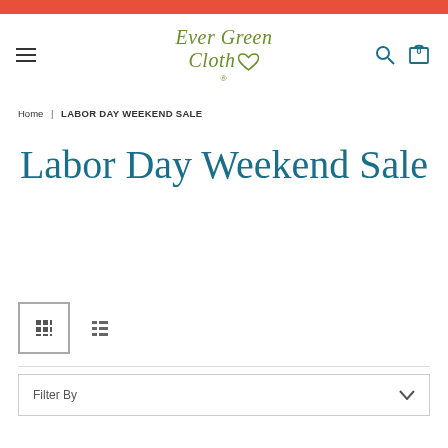[Figure (logo): Ever Green Cloth logo with green italic text and green heart icon]
Home | LABOR DAY WEEKEND SALE
Labor Day Weekend Sale
[Figure (other): View toggle buttons: grid view (active) and list view]
Filter By